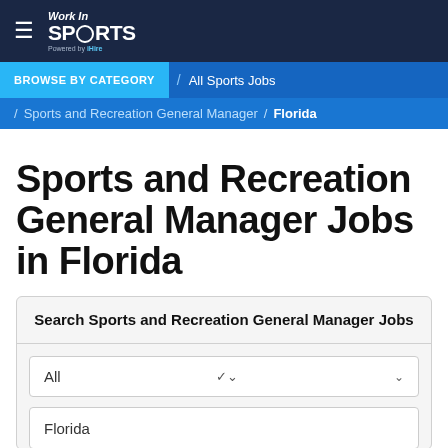Work In SPORTS — Powered by iHire
BROWSE BY CATEGORY / All Sports Jobs / Sports and Recreation General Manager / Florida
Sports and Recreation General Manager Jobs in Florida
Search Sports and Recreation General Manager Jobs
All
Florida